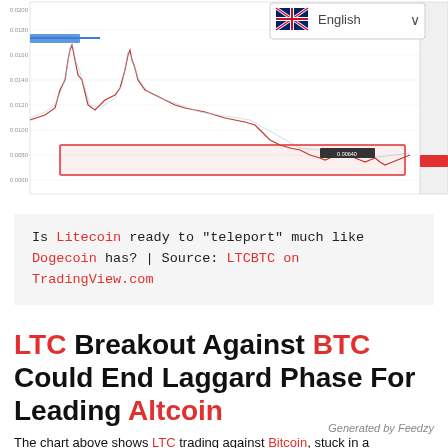[Figure (continuous-plot): LTCBTC candlestick/line chart on TradingView showing Litecoin price against Bitcoin. A red horizontal rectangle highlights a consolidation zone. The chart shows a large peak in the past followed by a long decline and current sideways movement. An English language selector dropdown with UK flag is visible in the top right of the chart area.]
Is Litecoin ready to "teleport" much like Dogecoin has? | Source: LTCBTC on TradingView.com
LTC Breakout Against BTC Could End Laggard Phase For Leading Altcoin
Generated by Feedzy
The chart above shows LTC trading against Bitcoin, stuck in a